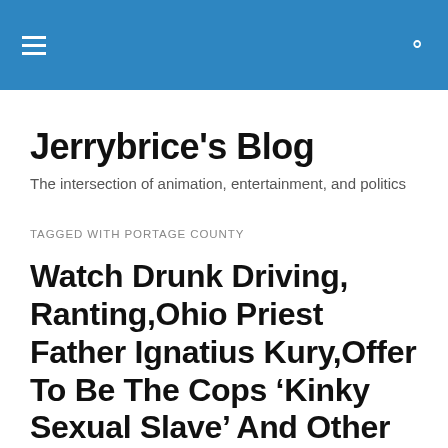Jerrybrice's Blog
Jerrybrice's Blog
The intersection of animation, entertainment, and politics
TAGGED WITH PORTAGE COUNTY
Watch Drunk Driving, Ranting,Ohio Priest Father Ignatius Kury,Offer To Be The Cops ‘Kinky Sexual Slave’ And Other Un-Godly, Sordid,Unseamly Sexual